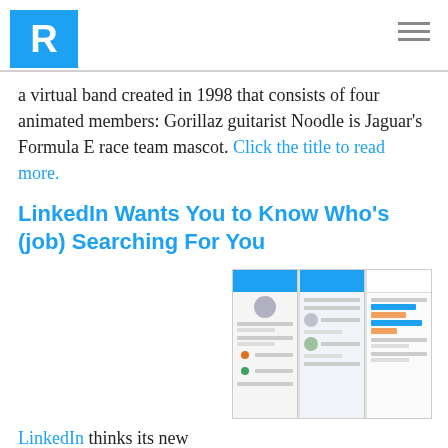R [logo]
a virtual band created in 1998 that consists of four animated members: Gorillaz guitarist Noodle is Jaguar's Formula E race team mascot. Click the title to read more.
LinkedIn Wants You to Know Who's (job) Searching For You
[Figure (screenshot): Three LinkedIn mobile app screenshots showing profile and search features]
LinkedIn thinks its new search features could help its half-billion members simplify that arduous process. The professional network on Wednesday launched a Search Appearances feature on members' profile page, for both mobile